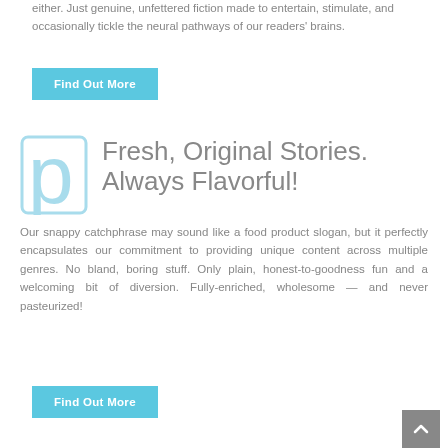either. Just genuine, unfettered fiction made to entertain, stimulate, and occasionally tickle the neural pathways of our readers' brains.
Find Out More
Fresh, Original Stories. Always Flavorful!
Our snappy catchphrase may sound like a food product slogan, but it perfectly encapsulates our commitment to providing unique content across multiple genres. No bland, boring stuff. Only plain, honest-to-goodness fun and a welcoming bit of diversion. Fully-enriched, wholesome — and never pasteurized!
Find Out More